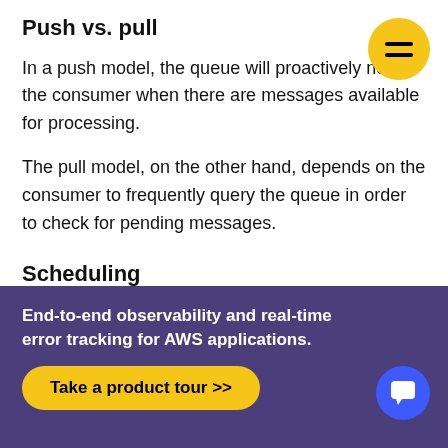Push vs. pull
In a push model, the queue will proactively notify the consumer when there are messages available for processing.
The pull model, on the other hand, depends on the consumer to frequently query the queue in order to check for pending messages.
Scheduling
Some queue systems will allow to schedule a specific date and time for message delivery. The producer is usually responsible for setting the schedule. The message is immediately received by the queue, but is kept away from the consumer until the schedu…
End-to-end observability and real-time error tracking for AWS applications.
Take a product tour >>